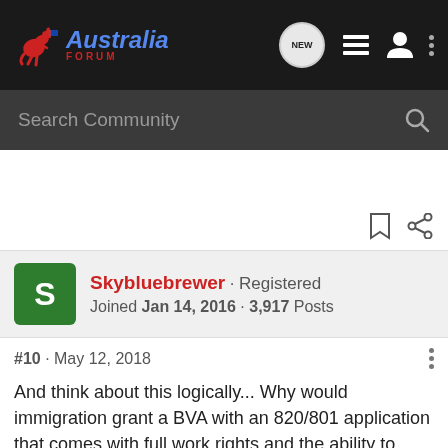Australia Forum
Search Community
Skybluebrewer · Registered
Joined Jan 14, 2016 · 3,917 Posts
#10 · May 12, 2018
And think about this logically... Why would immigration grant a BVA with an 820/801 application that comes with full work rights and the ability to apply for a BVB if you need to go offshore and return if the "best" choice is to cancel your current visa, become unlawful, then apply for a BVE with no travel or work rights?